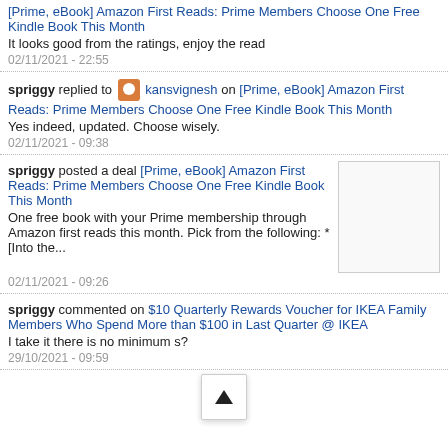[Prime, eBook] Amazon First Reads: Prime Members Choose One Free Kindle Book This Month
It looks good from the ratings, enjoy the read
02/11/2021 - 22:55
spriggy replied to kansvignesh on [Prime, eBook] Amazon First Reads: Prime Members Choose One Free Kindle Book This Month
Yes indeed, updated. Choose wisely.
02/11/2021 - 09:38
spriggy posted a deal [Prime, eBook] Amazon First Reads: Prime Members Choose One Free Kindle Book This Month
One free book with your Prime membership through Amazon first reads this month. Pick from the following: * [Into the...
02/11/2021 - 09:26
spriggy commented on $10 Quarterly Rewards Voucher for IKEA Family Members Who Spend More than $100 in Last Quarter @ IKEA
I take it there is no minimum s...?
29/10/2021 - 09:59